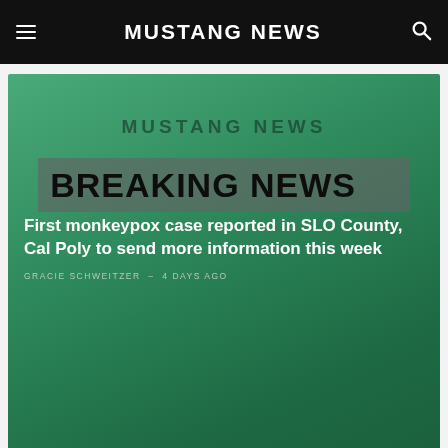MUSTANG NEWS
[Figure (screenshot): Breaking news hero image with green background showing 'MUSTANG NEWS' logo and 'BREAKING NEWS' banner with headline: First monkeypox case reported in SLO County, Cal Poly to send more information this week. Byline: GRACIE SCHWEITZER — 4 DAYS AGO]
Latest News